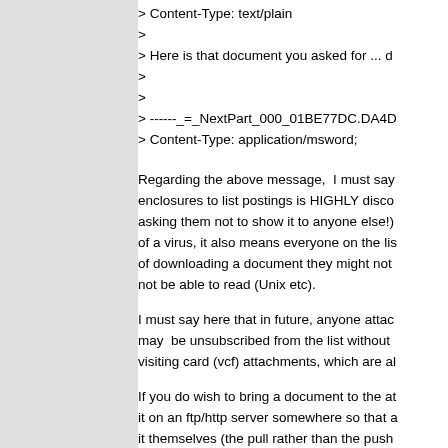> Content-Type: text/plain
>
> Here is that document you asked for ... d
>
>
> ------_=_NextPart_000_01BE77DC.DA4D
> Content-Type: application/msword;
Regarding the above message,  I must say enclosures to list postings is HIGHLY disco asking them not to show it to anyone else!) of a virus, it also means everyone on the lis of downloading a document they might not not be able to read (Unix etc).
I must say here that in future, anyone attac may  be unsubscribed from the list without visiting card (vcf) attachments, which are al
If you do wish to bring a document to the a it on an ftp/http server somewhere so that a it themselves (the pull rather than the push